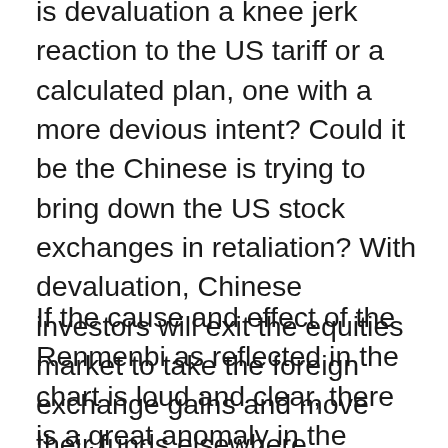is devaluation a knee jerk reaction to the US tariff or a calculated plan, one with a more devious intent? Could it be the Chinese is trying to bring down the US stock exchanges in retaliation? With devaluation, Chinese investors will exit the equities market to take the foreign exchange gains and move their funds elsewhere. Chinese investors are significant players in the US equities market. An exodus of Chinese money may trigger a bearish market to crash. Is this too-far fetched? The chart on the right clearly shows the Renmenbi devaluation tend to crash the US equities market.
If the cause and effect of the Renmenbi as reflected in the chart is loud and clear, there is a great anomaly in the latest round of devaluation from Feb to Jul 2018. Whilst CNY has depreciated by 8.4% to 6.77 against USD, the S&P 500 saw a sharp drop of 250 points in January, but